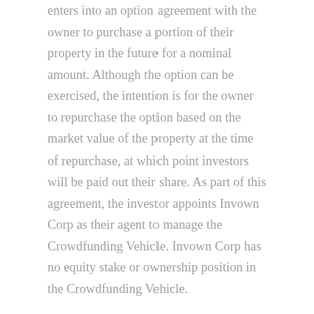enters into an option agreement with the owner to purchase a portion of their property in the future for a nominal amount. Although the option can be exercised, the intention is for the owner to repurchase the option based on the market value of the property at the time of repurchase, at which point investors will be paid out their share. As part of this agreement, the investor appoints Invown Corp as their agent to manage the Crowdfunding Vehicle. Invown Corp has no equity stake or ownership position in the Crowdfunding Vehicle.
Should the issuer fail to repurchase the option from investors, the agreement automatically extends for a period of one year with a penalty specified in the agreement. If the option is still not repurchased by